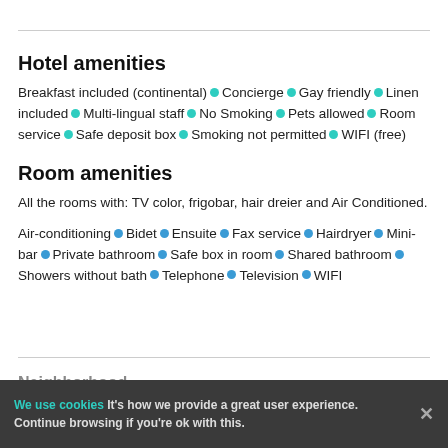Hotel amenities
Breakfast included (continental) • Concierge • Gay friendly • Linen included • Multi-lingual staff • No Smoking • Pets allowed • Room service • Safe deposit box • Smoking not permitted • WIFI (free)
Room amenities
All the rooms with: TV color, frigobar, hair dreier and Air Conditioned.
Air-conditioning • Bidet • Ensuite • Fax service • Hairdryer • Mini-bar • Private bathroom • Safe box in room • Shared bathroom • Showers without bath • Telephone • Television • WIFI
Neighborhood
Points of interest
We use cookies It's how we provide a great user experience. Continue browsing if you're ok with this.